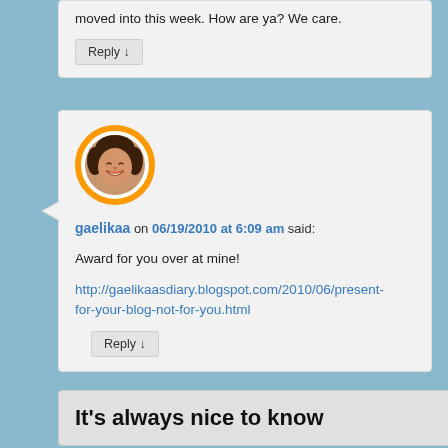moved into this week. How are ya? We care.
Reply ↓
[Figure (photo): Circular avatar photo of a woman with brown hair, smiling, with an orange ring border]
gaelikaa on 06/19/2010 at 6:09 am said:
Award for you over at mine!
http://gaelikaasdiary.blogspot.com/2010/06/present-for-your-blog-not-for-you.html
Reply ↓
It's always nice to know